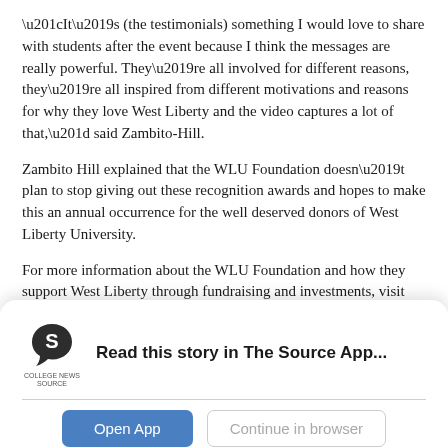“It’s (the testimonials) something I would love to share with students after the event because I think the messages are really powerful. They’re all involved for different reasons, they’re all inspired from different motivations and reasons for why they love West Liberty and the video captures a lot of that,” said Zambito-Hill.
Zambito Hill explained that the WLU Foundation doesn’t plan to stop giving out these recognition awards and hopes to make this an annual occurrence for the well deserved donors of West Liberty University.
For more information about the WLU Foundation and how they support West Liberty through fundraising and investments, visit the foundation’s website.
[Figure (logo): College News Source logo - stylized S icon in dark color above text reading COLLEGE NEWS SOURCE]
Read this story in The Source App...
Open App
Continue in browser